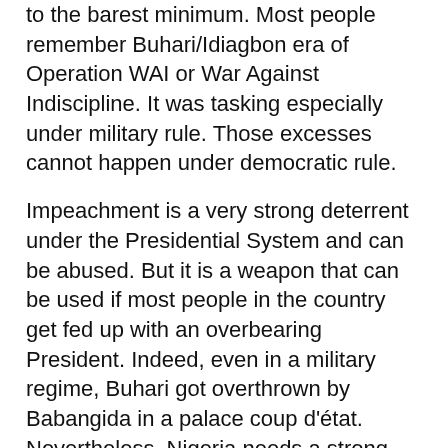to the barest minimum. Most people remember Buhari/Idiagbon era of Operation WAI or War Against Indiscipline. It was tasking especially under military rule. Those excesses cannot happen under democratic rule.
Impeachment is a very strong deterrent under the Presidential System and can be abused. But it is a weapon that can be used if most people in the country get fed up with an overbearing President. Indeed, even in a military regime, Buhari got overthrown by Babangida in a palace coup d'état. Nevertheless, Nigeria needs a strong hand to cube the degeneration culture in order for the social and economic fiber encouraging hard work and decency to prevail again.
Even if Jonathan means well, it is foolish to think